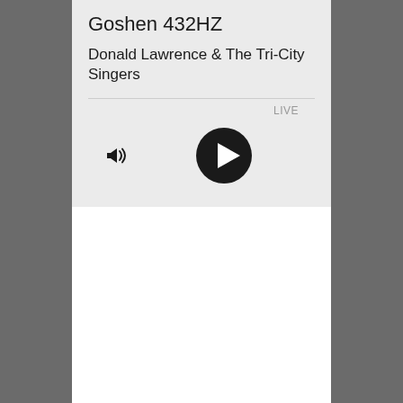Goshen 432HZ
Donald Lawrence & The Tri-City Singers
LIVE
[Figure (screenshot): Speaker/volume icon on the left and circular play button (black circle with white triangle) in the center of the controls row]